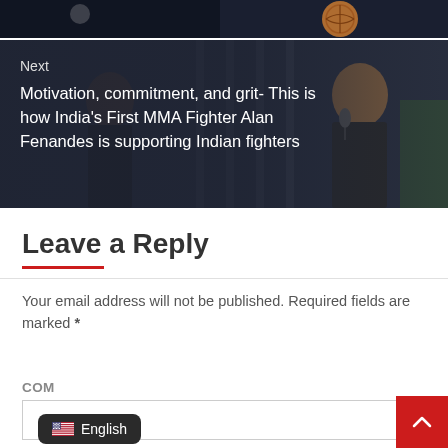[Figure (photo): Top strip showing partial sports image with basketball visible, dark background]
[Figure (photo): Next article card showing two men, one holding microphone, dark overlay with text]
Next
Motivation, commitment, and grit- This is how India's First MMA Fighter Alan Fenandes is supporting Indian fighters
Leave a Reply
Your email address will not be published. Required fields are marked *
COMMENT
[Figure (screenshot): English language selector pill with US flag icon]
[Figure (other): Red scroll-to-top button with chevron arrow]